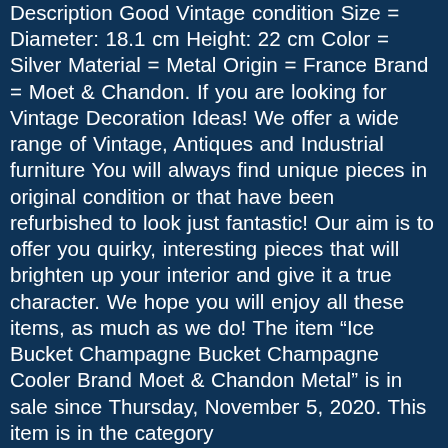Description Good Vintage condition Size = Diameter: 18.1 cm Height: 22 cm Color = Silver Material = Metal Origin = France Brand = Moet & Chandon. If you are looking for Vintage Decoration Ideas! We offer a wide range of Vintage, Antiques and Industrial furniture You will always find unique pieces in original condition or that have been refurbished to look just fantastic! Our aim is to offer you quirky, interesting pieces that will brighten up your interior and give it a true character. We hope you will enjoy all these items, as much as we do! The item “Ice Bucket Champagne Bucket Champagne Cooler Brand Moet & Chandon Metal” is in sale since Thursday, November 5, 2020. This item is in the category “Collectables\Breweriana\Ice Buckets & Coolers”. The seller is “lilouluke” and is located in London. This item can be shipped to United Kingdom, Antigua and barbuda, Austria, Belgium, Bulgaria, Croatia, Cyprus, Czech republic, Denmark, Estonia, Finland, France, Germany, Greece, Hungary, Ireland, Italy, Latvia, Lithuania, Luxembourg, Malta, Netherlands, Poland, Portugal, Romania, Slovakia, Slovenia, Spain, Sweden, Australia, United States, Bahrain, Canada, Japan, New Zealand, China, Israel, Hong Kong, Norway, Indonesia, Malaysia, Mexico, Singapore, South